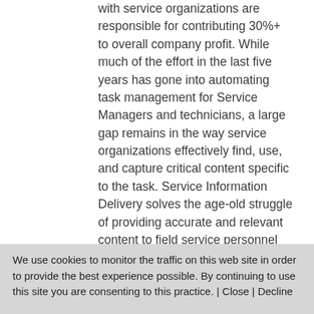with service organizations are responsible for contributing 30%+ to overall company profit. While much of the effort in the last five years has gone into automating task management for Service Managers and technicians, a large gap remains in the way service organizations effectively find, use, and capture critical content specific to the task. Service Information Delivery solves the age-old struggle of providing accurate and relevant content to field service personnel as the task or job is being performed. It also captures and shares data during the process and provides audit trail and analytics upon completion. All critical functions to help the Service organization
We use cookies to monitor the traffic on this web site in order to provide the best experience possible. By continuing to use this site you are consenting to this practice. | Close | Decline